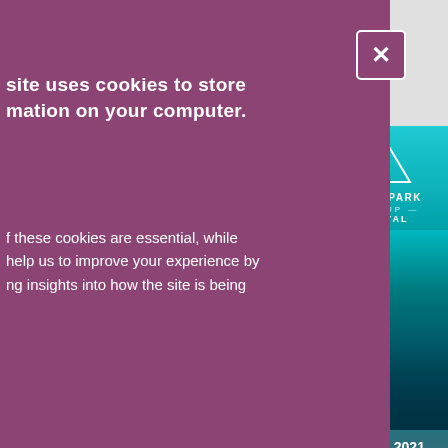[Figure (screenshot): Cookie consent overlay on a website. Purple overlay covering left portion of page with cookie notice text, Accept Cookies button, Do Not Accept Cookies button, and close (X) button. Right side shows a Tatton Park Pop Up Festival advertisement banner and gray website content beneath.]
site uses cookies to store mation on your computer.
f these cookies are essential, while help us to improve your experience by ng insights into how the site is being
re information visit our Cookies page
ept Cookies
Not Accept Cookies
TH JULY 2021 ON'T MISS IT POPUPFESTVAL.CO.UK
e for all ages!
te show for nimatronics, opportunities ters